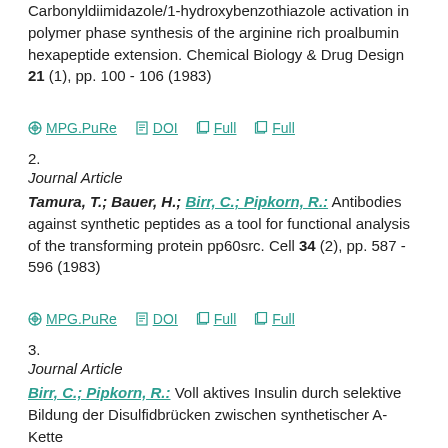Carbonyldiimidazole/1-hydroxybenzothiazole activation in polymer phase synthesis of the arginine rich proalbumin hexapeptide extension. Chemical Biology & Drug Design 21 (1), pp. 100 - 106 (1983)
MPG.PuRe   DOI   Full   Full
2.
Journal Article
Tamura, T.; Bauer, H.; Birr, C.; Pipkorn, R.: Antibodies against synthetic peptides as a tool for functional analysis of the transforming protein pp60src. Cell 34 (2), pp. 587 - 596 (1983)
MPG.PuRe   DOI   Full   Full
3.
Journal Article
Birr, C.; Pipkorn, R.: Voll aktives Insulin durch selektive Bildung der Disulfidbrücken zwischen synthetischer A-Kette